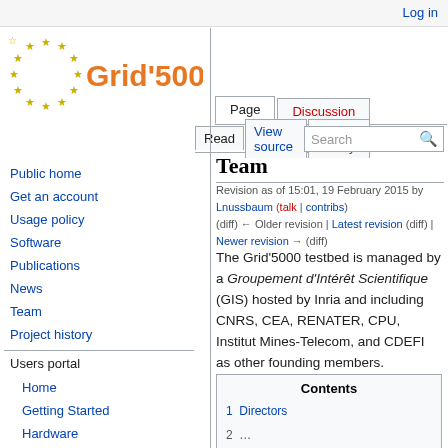Log in
[Figure (logo): Grid'5000 logo with EU-style stars circle and orange text]
Team
Revision as of 15:01, 19 February 2015 by Lnussbaum (talk | contribs) (diff) ← Older revision | Latest revision (diff) | Newer revision → (diff)
The Grid'5000 testbed is managed by a Groupement d'Intérêt Scientifique (GIS) hosted by Inria and including CNRS, CEA, RENATER, CPU, Institut Mines-Telecom, and CDEFI as other founding members.
| Contents |
| --- |
| 1  Directors |
Public home
Get an account
Usage policy
Software
Publications
News
Team
Project history
Users portal
Home
Getting Started
Hardware
Network
Platforms